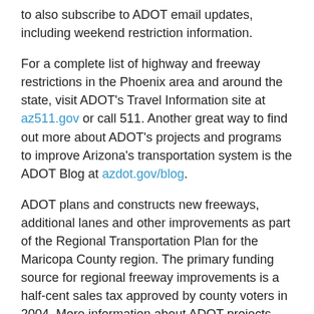to also subscribe to ADOT email updates, including weekend restriction information.
For a complete list of highway and freeway restrictions in the Phoenix area and around the state, visit ADOT's Travel Information site at az511.gov or call 511. Another great way to find out more about ADOT's projects and programs to improve Arizona's transportation system is the ADOT Blog at azdot.gov/blog.
ADOT plans and constructs new freeways, additional lanes and other improvements as part of the Regional Transportation Plan for the Maricopa County region. The primary funding source for regional freeway improvements is a half-cent sales tax approved by county voters in 2004. More information about ADOT projects and the regional plan is available at www.azdot.gov/projects.